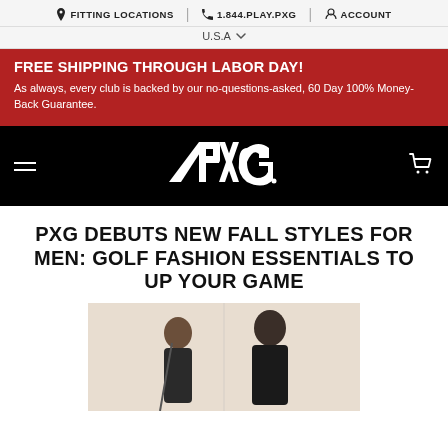FITTING LOCATIONS | 1.844.PLAY.PXG | ACCOUNT
U.S.A
FREE SHIPPING THROUGH LABOR DAY! As always, every club is backed by our no-questions-asked, 60 Day 100% Money-Back Guarantee.
[Figure (logo): PXG logo in white on black background with hamburger menu and cart icon]
PXG DEBUTS NEW FALL STYLES FOR MEN: GOLF FASHION ESSENTIALS TO UP YOUR GAME
[Figure (photo): Two models, a woman and a man, wearing PXG golf apparel on a light background]